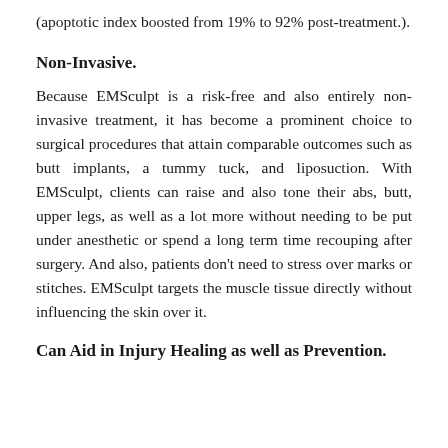(apoptotic index boosted from 19% to 92% post-treatment.).
Non-Invasive.
Because EMSculpt is a risk-free and also entirely non-invasive treatment, it has become a prominent choice to surgical procedures that attain comparable outcomes such as butt implants, a tummy tuck, and liposuction. With EMSculpt, clients can raise and also tone their abs, butt, upper legs, as well as a lot more without needing to be put under anesthetic or spend a long term time recouping after surgery. And also, patients don't need to stress over marks or stitches. EMSculpt targets the muscle tissue directly without influencing the skin over it.
Can Aid in Injury Healing as well as Prevention.